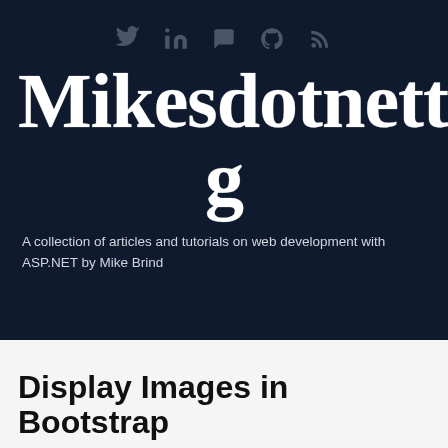[Figure (logo): Social media icons row: Twitter bird, LinkedIn 'in', chat/comment, GitHub, RSS feed icons — all dark gray on dark navy background]
Mikesdotnetting
A collection of articles and tutorials on web development with ASP.NET by Mike Brind
Display Images in Bootstrap